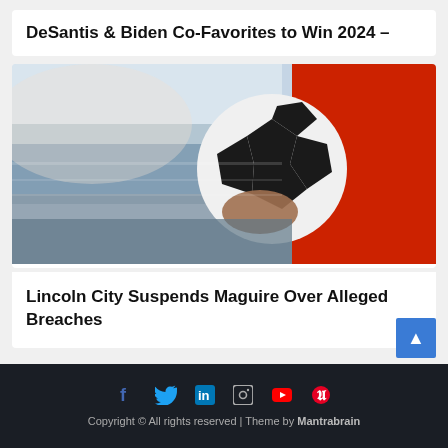DeSantis & Biden Co-Favorites to Win 2024 –
[Figure (photo): Person in red jersey holding a soccer ball in front of a stadium crowd]
Lincoln City Suspends Maguire Over Alleged Breaches
Copyright © All rights reserved | Theme by Mantrabrain